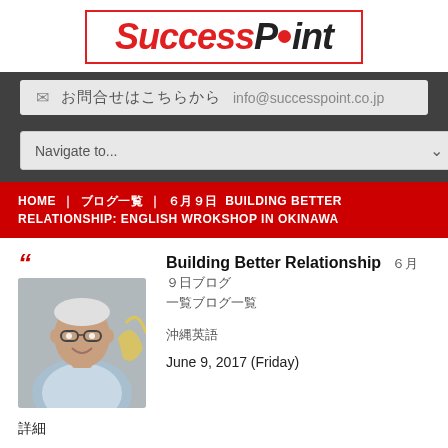[Figure (logo): SuccessPoint logo with red italic text and red dot replacing the 'o' in Point]
✉ お問合せはこちらから  info@successpoint.co.jp
Navigate to...
HOME | ブログ一覧 | ６月９日 BUILDING BETTER RELATIONSHIP: ENGLISH WROKSHOP IN OKINAWA
[Figure (photo): Photo of a smiling Asian man with glasses wearing a light blue shirt, with a yellow decorative element in the background]
Building Better Relationship
６月９日ブログ一覧
沖縄英語
June 9, 2017 (Friday)
詳細